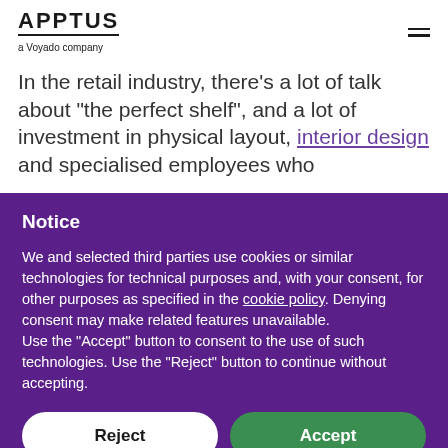APPTUS a Voyado company
In the retail industry, there’s a lot of talk about “the perfect shelf”, and a lot of investment in physical layout, interior design and specialised employees who
Notice
We and selected third parties use cookies or similar technologies for technical purposes and, with your consent, for other purposes as specified in the cookie policy. Denying consent may make related features unavailable.
Use the “Accept” button to consent to the use of such technologies. Use the “Reject” button to continue without accepting.
Reject
Accept
Learn more and customize